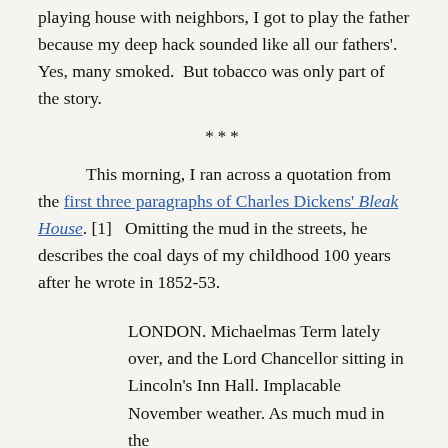playing house with neighbors, I got to play the father because my deep hack sounded like all our fathers'.  Yes, many smoked.  But tobacco was only part of the story.
***
This morning, I ran across a quotation from the first three paragraphs of Charles Dickens' Bleak House. [1]   Omitting the mud in the streets, he describes the coal days of my childhood 100 years after he wrote in 1852-53.
LONDON. Michaelmas Term lately over, and the Lord Chancellor sitting in Lincoln's Inn Hall. Implacable November weather. As much mud in the